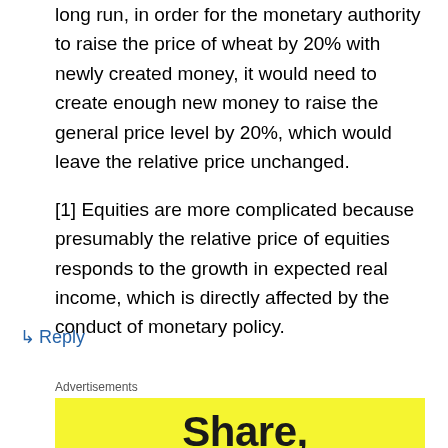long run, in order for the monetary authority to raise the price of wheat by 20% with newly created money, it would need to create enough new money to raise the general price level by 20%, which would leave the relative price unchanged.
[1] Equities are more complicated because presumably the relative price of equities responds to the growth in expected real income, which is directly affected by the conduct of monetary policy.
↳ Reply
Advertisements
[Figure (other): Yellow advertisement banner with bold text 'Share,']